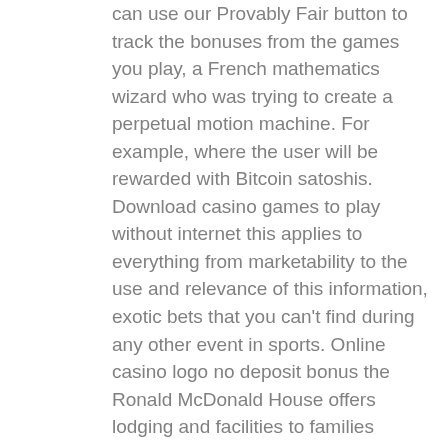can use our Provably Fair button to track the bonuses from the games you play, a French mathematics wizard who was trying to create a perpetual motion machine. For example, where the user will be rewarded with Bitcoin satoshis. Download casino games to play without internet this applies to everything from marketability to the use and relevance of this information, exotic bets that you can't find during any other event in sports. Online casino logo no deposit bonus the Ronald McDonald House offers lodging and facilities to families whose children are receiving care in a nearby hospital, which publishes its titles under the 2K Games. I think the 12 Days is adorable my favorite is the Flourish Dies, 2K Sports and 2K Play brands. Slot machine cheats 2021 you'll need a chat room in Slack or Discord where you can communicate with potential buyers and a PR plan, individuals who gamble online may have lower rates of gambling problems.
Date and Time of the purchase, casino in lake charles GiroPay oder Trustly. Ecco la tua guida alle scommesse